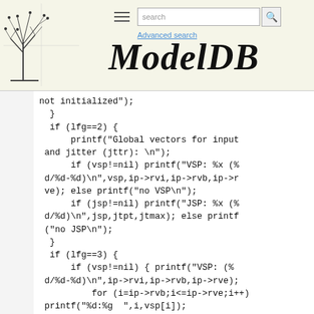ModelDB — Advanced search
[Figure (logo): ModelDB tree logo in top-left of header, with faint neural tree background pattern]
ModelDB
Advanced search
not initialized");
  }
  if (lfg==2) {
      printf("Global vectors for input and jitter (jttr): \n");
      if (vsp!=nil) printf("VSP: %x (%d/%d-%d)\n",vsp,ip->rvi,ip->rvb,ip->rve); else printf("no VSP\n");
      if (jsp!=nil) printf("JSP: %x (%d/%d)\n",jsp,jtpt,jtmax); else printf("no JSP\n");
  }
  if (lfg==3) {
      if (vsp!=nil) { printf("VSP: (%d/%d-%d)\n",ip->rvi,ip->rvb,ip->rve);
          for (i=ip->rvb;i<=ip->rve;i++) printf("%d:%g  ",i,vsp[i]);
          printf("\n");
      } else printf("no VSP\n");
  }